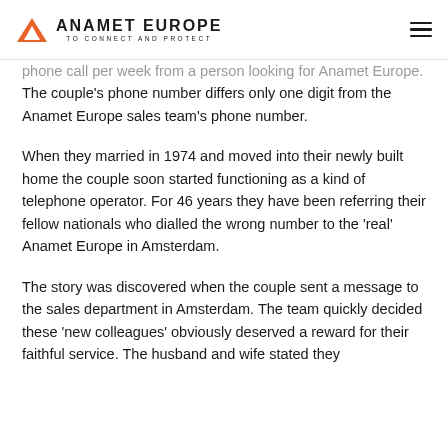ANAMET EUROPE — TO CONNECT AND PROTECT
phone call per week from a person looking for Anamet Europe. The couple's phone number differs only one digit from the Anamet Europe sales team's phone number.
When they married in 1974 and moved into their newly built home the couple soon started functioning as a kind of telephone operator. For 46 years they have been referring their fellow nationals who dialled the wrong number to the 'real' Anamet Europe in Amsterdam.
The story was discovered when the couple sent a message to the sales department in Amsterdam. The team quickly decided these 'new colleagues' obviously deserved a reward for their faithful service. The husband and wife stated they